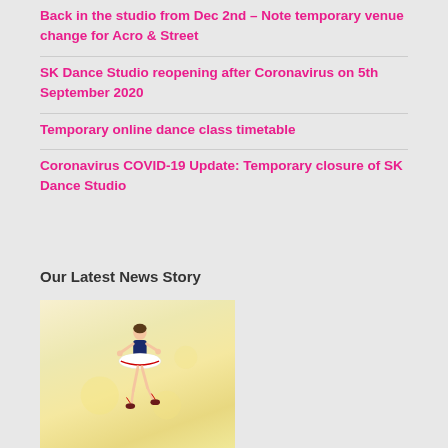Back in the studio from Dec 2nd – Note temporary venue change for Acro & Street
SK Dance Studio reopening after Coronavirus on 5th September 2020
Temporary online dance class timetable
Coronavirus COVID-19 Update: Temporary closure of SK Dance Studio
Our Latest News Story
[Figure (photo): Young girl in a blue and white ballet tutu dress with red trim, performing a ballet pose against a light golden bokeh background]